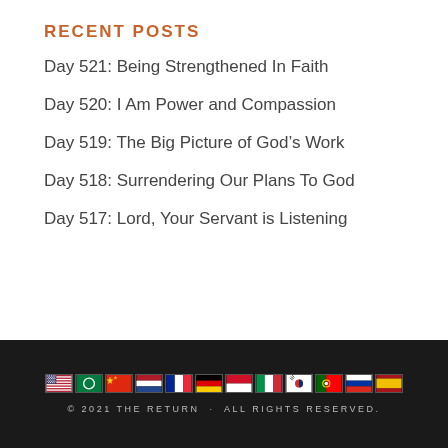RECENT POSTS
Day 521: Being Strengthened In Faith
Day 520: I Am Power and Compassion
Day 519: The Big Picture of God’s Work
Day 518: Surrendering Our Plans To God
Day 517: Lord, Your Servant is Listening
© 2021 THE RETURN · ALL RIGHTS RESERVED.